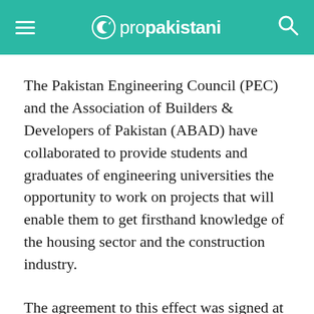propakistani
The Pakistan Engineering Council (PEC) and the Association of Builders & Developers of Pakistan (ABAD) have collaborated to provide students and graduates of engineering universities the opportunity to work on projects that will enable them to get firsthand knowledge of the housing sector and the construction industry.
The agreement to this effect was signed at a ceremony at the ABAD head office in Karachi. It was attended by social entrepreneur and nominee for this year's Nobel Prize, Dr. Amjad Saqib, as the